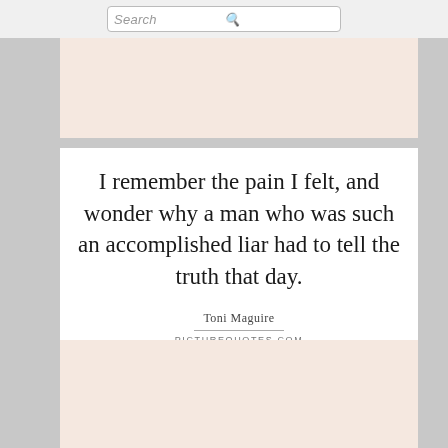Search
[Figure (illustration): Pink/peach decorative banner area at top of quote card]
I remember the pain I felt, and wonder why a man who was such an accomplished liar had to tell the truth that day.
Toni Maguire
PICTUREQUOTES.com
[Figure (illustration): Pink/peach decorative banner area at bottom of quote card]